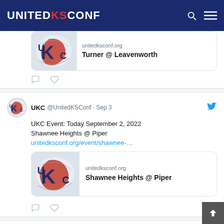UNITED KS CONF
[Figure (screenshot): Partial tweet card showing UKC logo and link card with 'unitedksconf.org' and 'Turner @ Leavenworth']
[Figure (screenshot): Tweet from UKC @UnitedKSConf · Sep 3: UKC Event: Today September 2, 2022 Shawnee Heights @ Piper with link unitedksconf.org/event/shawnee-... and link card showing Shawnee Heights @ Piper]
[Figure (screenshot): Partial tweet from UKC @UnitedKSConf · Sep 3, text: UKC Event: Today September 2, 2022 (partially visible)]